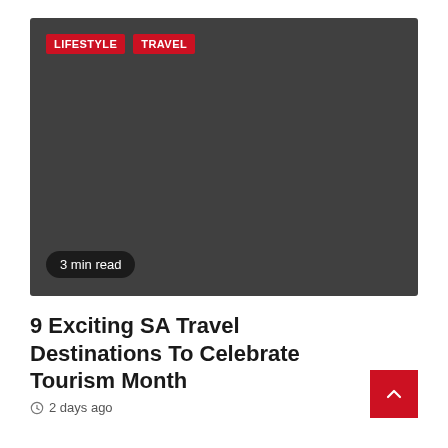[Figure (photo): Dark grey placeholder image for article thumbnail with LIFESTYLE and TRAVEL category tags overlaid at top-left, and a '3 min read' badge at bottom-left]
9 Exciting SA Travel Destinations To Celebrate Tourism Month
2 days ago